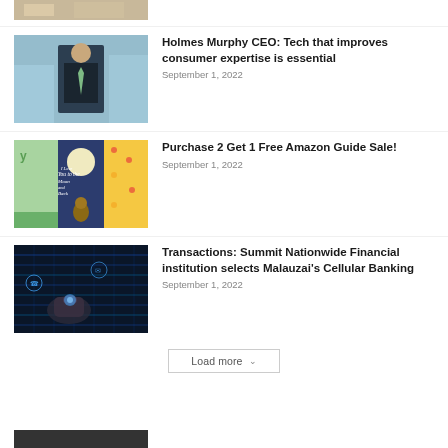[Figure (photo): Partial view of article thumbnail at top of page]
[Figure (photo): Photo of a man in a dark suit with green tie in a modern office setting]
Holmes Murphy CEO: Tech that improves consumer expertise is essential
September 1, 2022
[Figure (photo): Book cover collage featuring 'I Love You to the Moon and Back' children's book]
Purchase 2 Get 1 Free Amazon Guide Sale!
September 1, 2022
[Figure (photo): Hand touching a digital screen with data server background]
Transactions: Summit Nationwide Financial institution selects Malauzai's Cellular Banking
September 1, 2022
Load more